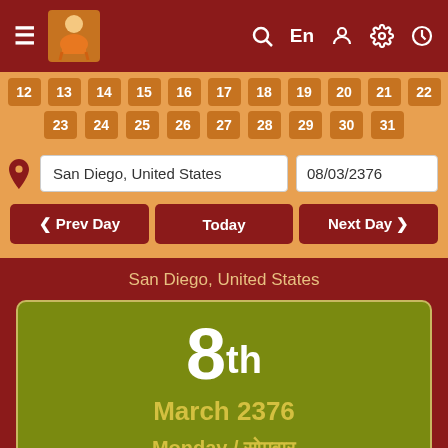≡  En  [search] [user] [settings] [clock]
12 13 14 15 16 17 18 19 20 21 22
23 24 25 26 27 28 29 30 31
San Diego, United States | 08/03/2376
‹ Prev Day   Today   Next Day ›
San Diego, United States
8th March 2376 Monday / सोमवार